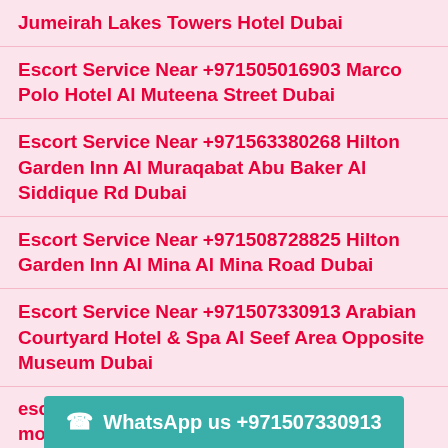Jumeirah Lakes Towers Hotel Dubai
Escort Service Near +971505016903 Marco Polo Hotel Al Muteena Street Dubai
Escort Service Near +971563380268 Hilton Garden Inn Al Muraqabat Abu Baker Al Siddique Rd Dubai
Escort Service Near +971508728825 Hilton Garden Inn Al Mina Al Mina Road Dubai
Escort Service Near +971507330913 Arabian Courtyard Hotel & Spa Al Seef Area Opposite Museum Dubai
escorts service +971568916672 near movenpick hotel apartments the square corner of cairo road duba
WhatsApp us +971507330913